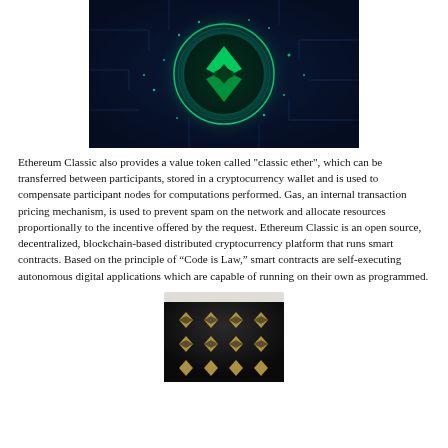[Figure (photo): Ethereum Classic glowing green logo on dark blue circuit board background]
Ethereum Classic also provides a value token called "classic ether", which can be transferred between participants, stored in a cryptocurrency wallet and is used to compensate participant nodes for computations performed. Gas, an internal transaction pricing mechanism, is used to prevent spam on the network and allocate resources proportionally to the incentive offered by the request. Ethereum Classic is an open source, decentralized, blockchain-based distributed cryptocurrency platform that runs smart contracts. Based on the principle of “Code is Law,” smart contracts are self-executing autonomous digital applications which are capable of running on their own as programmed.
[Figure (photo): Partial view of Ethereum Classic branded merchandise or token packaging with dark background and repeating diamond logos]